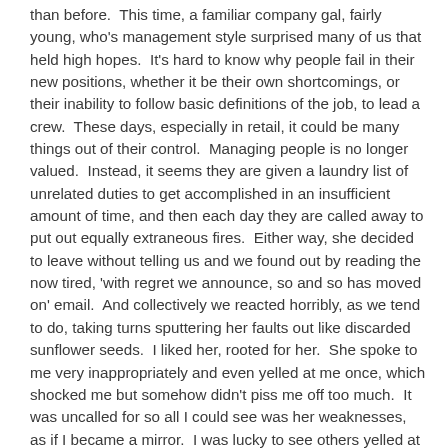than before.  This time, a familiar company gal, fairly young, who's management style surprised many of us that held high hopes.  It's hard to know why people fail in their new positions, whether it be their own shortcomings, or their inability to follow basic definitions of the job, to lead a crew.  These days, especially in retail, it could be many things out of their control.  Managing people is no longer valued.  Instead, it seems they are given a laundry list of unrelated duties to get accomplished in an insufficient amount of time, and then each day they are called away to put out equally extraneous fires.  Either way, she decided to leave without telling us and we found out by reading the now tired, 'with regret we announce, so and so has moved on' email.  And collectively we reacted horribly, as we tend to do, taking turns sputtering her faults out like discarded sunflower seeds.  I liked her, rooted for her.  She spoke to me very inappropriately and even yelled at me once, which shocked me but somehow didn't piss me off too much.  It was uncalled for so all I could see was her weaknesses, as if I became a mirror.  I was lucky to see others yelled at beforehand and saw their angry reactions.  I realized then, how age helps so much with idiotic behavior.